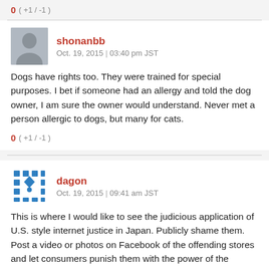0 ( +1 / -1 )
shonanbb
Oct. 19, 2015 | 03:40 pm JST
Dogs have rights too. They were trained for special purposes. I bet if someone had an allergy and told the dog owner, I am sure the owner would understand. Never met a person allergic to dogs, but many for cats.
0 ( +1 / -1 )
dagon
Oct. 19, 2015 | 09:41 am JST
This is where I would like to see the judicious application of U.S. style internet justice in Japan. Publicly shame them. Post a video or photos on Facebook of the offending stores and let consumers punish them with the power of the pocketbook. Too bad their would not be enough public support if and when the same thing would be done to